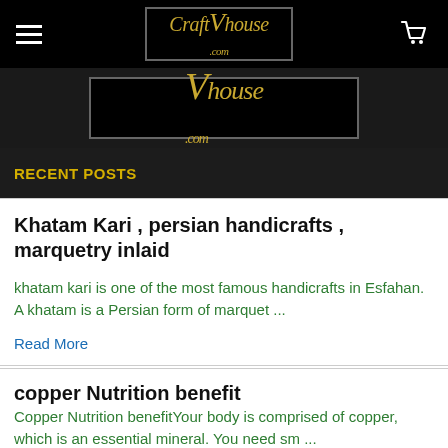CraftVhouse.com navigation header with hamburger menu and cart icon
[Figure (logo): CraftVhouse.com logo banner strip in dark background with gold italic text]
RECENT POSTS
Khatam Kari , persian handicrafts , marquetry inlaid
khatam kari is one of the most famous handicrafts in Esfahan. A khatam is a Persian form of marquet ...
Read More
copper Nutrition benefit
Copper Nutrition benefitYour body is comprised of copper, which is an essential mineral. You need sm ...
Read More